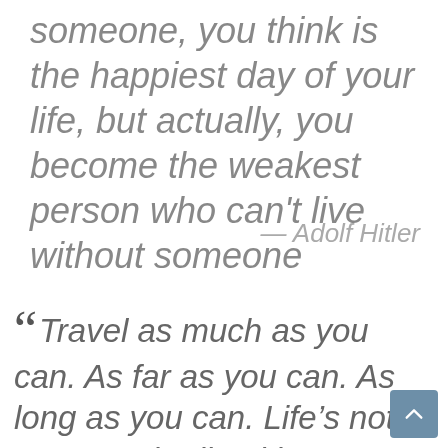…someone, you think is the happiest day of your life, but actually, you become the weakest person who can't live without someone
— Adolf Hitler
“Travel as much as you can. As far as you can. As long as you can. Life's not meant to be lived in one place.